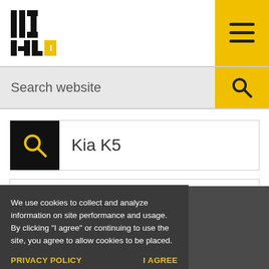IIHS HLDI
Search website
Kia K5
2022
We use cookies to collect and analyze information on site performance and usage. By clicking "I agree" or continuing to use the site, you agree to allow cookies to be placed.
PRIVACY POLICY
I AGREE
2022 Kia K5
MIDSIZE CAR / 4-DOOR SEDAN